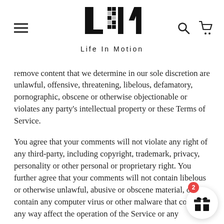Life In Motion — website header with logo, hamburger menu, search and cart icons
remove content that we determine in our sole discretion are unlawful, offensive, threatening, libelous, defamatory, pornographic, obscene or otherwise objectionable or violates any party's intellectual property or these Terms of Service.
You agree that your comments will not violate any right of any third-party, including copyright, trademark, privacy, personality or other personal or proprietary right. You further agree that your comments will not contain libelous or otherwise unlawful, abusive or obscene material, or contain any computer virus or other malware that could in any way affect the operation of the Service or any related website. You may not use a false e-mail